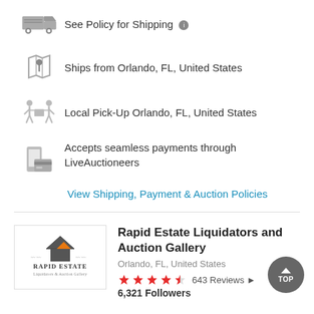See Policy for Shipping
Ships from Orlando, FL, United States
Local Pick-Up Orlando, FL, United States
Accepts seamless payments through LiveAuctioneers
View Shipping, Payment & Auction Policies
[Figure (logo): Rapid Estate Liquidators and Auction Gallery logo]
Rapid Estate Liquidators and Auction Gallery
Orlando, FL, United States
643 Reviews
6,321 Followers